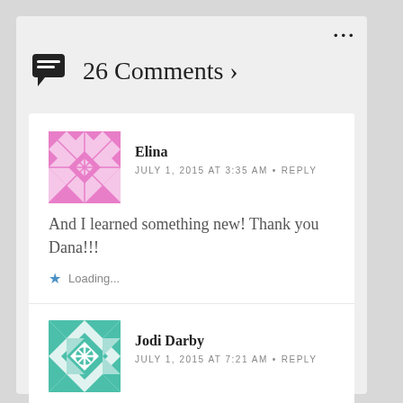26 Comments ›
Elina
JULY 1, 2015 AT 3:35 AM • REPLY
And I learned something new! Thank you Dana!!!
Loading...
Jodi Darby
JULY 1, 2015 AT 7:21 AM • REPLY